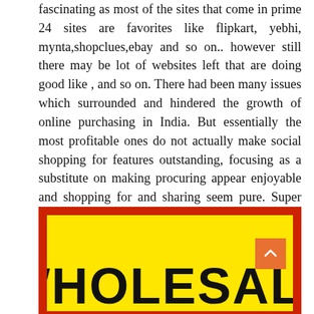fascinating as most of the sites that come in prime 24 sites are favorites like flipkart, yebhi, mynta,shopclues,ebay and so on.. however still there may be lot of websites left that are doing good like , and so on. There had been many issues which surrounded and hindered the growth of online purchasing in India. But essentially the most profitable ones do not actually make social shopping for features outstanding, focusing as a substitute on making procuring appear enjoyable and shopping for and sharing seem pure. Super Bazar Online is a quickest rising Online convenience retailer with companies across the globe and particular consideration to Hyderabad customers.
[Figure (photo): Yellow sign with red border showing the word WHOLESALE in large bold black letters]